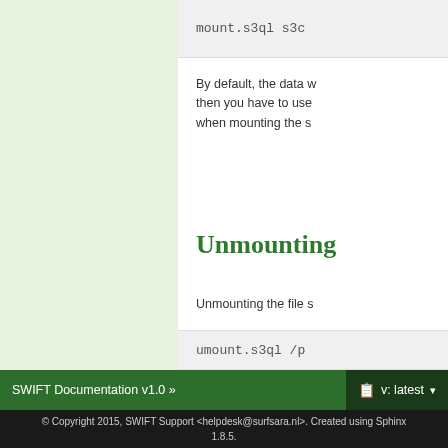[Figure (screenshot): Code block showing 'mount.s3ql s3c...' command on grey background]
By default, the data w... then you have to use... when mounting the s...
Unmounting
Unmounting the file s...
[Figure (screenshot): Code block showing 'umount.s3ql /p...' command on grey background]
SWIFT Documentation v1.0 »   v: latest
© Copyright 2015, SWIFT Support <helpdesk@surfsara.nl>. Created using Sphinx 1.8.5.